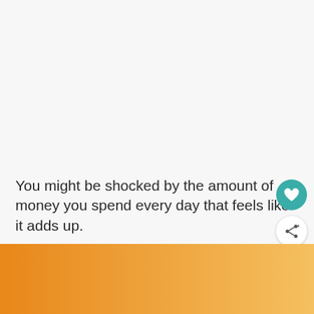You might be shocked by the amount of money you spend every day that feels like it adds up.
[Figure (photo): Orange gradient banner at the bottom of the page with a partially visible white graphic or illustration]